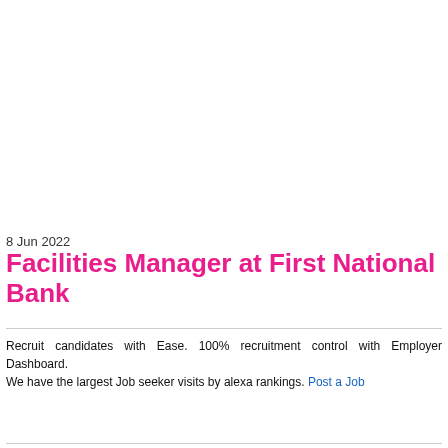8 Jun 2022 Facilities Manager at First National Bank
Recruit candidates with Ease. 100% recruitment control with Employer Dashboard.
We have the largest Job seeker visits by alexa rankings. Post a Job
Get a professional CV today and stay ahead in the job market. Request CV Service